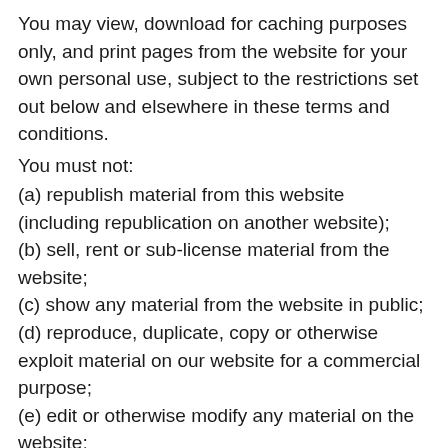You may view, download for caching purposes only, and print pages from the website for your own personal use, subject to the restrictions set out below and elsewhere in these terms and conditions.
You must not:
(a) republish material from this website (including republication on another website);
(b) sell, rent or sub-license material from the website;
(c) show any material from the website in public;
(d) reproduce, duplicate, copy or otherwise exploit material on our website for a commercial purpose;
(e) edit or otherwise modify any material on the website;
(f) redistribute material from this website except for content specifically and expressly made available for redistribution(3) Service Access
While we endeavour to ensure that the website is normally available 24 hours a day, we shall not be liable if for any